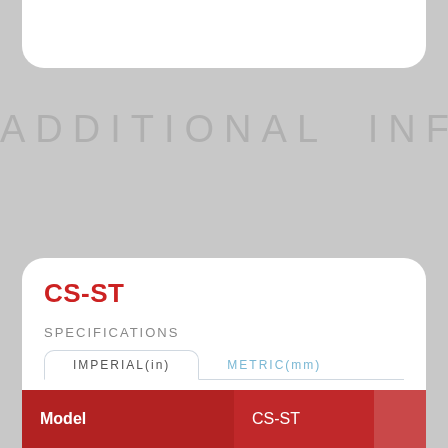ADDITIONAL INFO
CS-ST
SPECIFICATIONS
IMPERIAL(in)
METRIC(mm)
| Model | CS-ST |
| --- | --- |